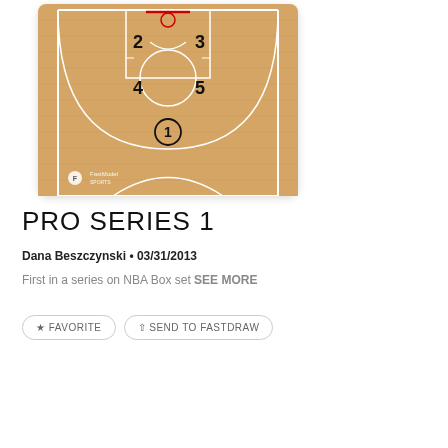[Figure (other): Basketball court diagram showing NBA Box set play. Half-court view from above with hardwood floor texture. Players labeled 1-5: player 1 at center/point guard position, players 2 and 3 at wing positions near the paint, players 4 and 5 at elbow/block positions. FastModel Sports logo in bottom-left corner.]
PRO SERIES 1
Dana Beszczynski • 03/31/2013
First in a series on NBA Box set SEE MORE
FAVORITE
SEND TO FASTDRAW